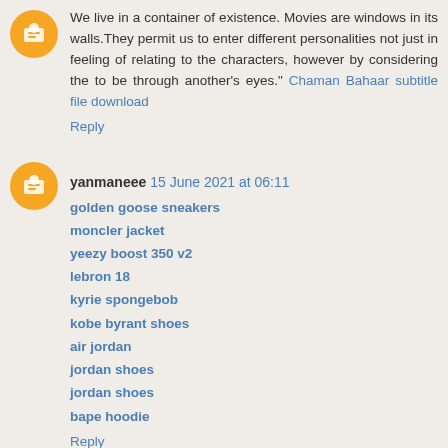We live in a container of existence. Movies are windows in its walls.They permit us to enter different personalities not just in feeling of relating to the characters, however by considering the to be through another's eyes." Chaman Bahaar subtitle file download
Reply
yanmaneee  15 June 2021 at 06:11
golden goose sneakers
moncler jacket
yeezy boost 350 v2
lebron 18
kyrie spongebob
kobe byrant shoes
air jordan
jordan shoes
jordan shoes
bape hoodie
Reply